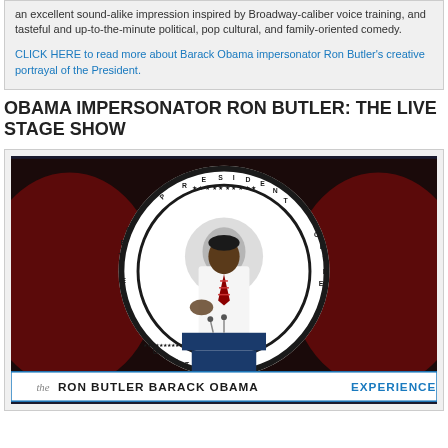an excellent sound-alike impression inspired by Broadway-caliber voice training, and tasteful and up-to-the-minute political, pop cultural, and family-oriented comedy.
CLICK HERE to read more about Barack Obama impersonator Ron Butler's creative portrayal of the President.
OBAMA IMPERSONATOR RON BUTLER: THE LIVE STAGE SHOW
[Figure (photo): Photo of Ron Butler as Barack Obama impersonator, standing at a podium with a presidential seal in the background. The image has a banner at the bottom reading 'the RON BUTLER BARACK OBAMA EXPERIENCE'.]